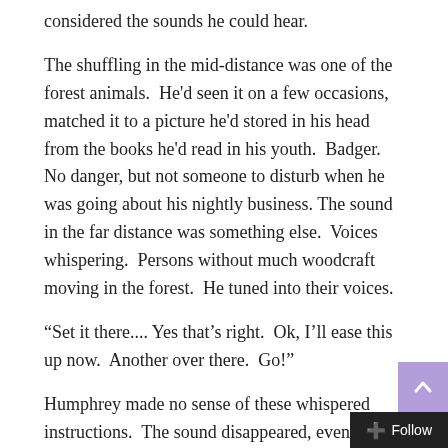considered the sounds he could hear.
The shuffling in the mid-distance was one of the forest animals.  He'd seen it on a few occasions, matched it to a picture he'd stored in his head from the books he'd read in his youth.  Badger.  No danger, but not someone to disturb when he was going about his nightly business. The sound in the far distance was something else.  Voices whispering.  Persons without much woodcraft moving in the forest.  He tuned into their voices.
“Set it there.... Yes that’s right.  Ok, I’ll ease this up now.  Another over there.  Go!”
Humphrey made no sense of these whispered instructions.  The sound disappeared, even in far-distance hearing.  They had gone out of line of sound.  Humphrey could hear through rock if the speakers were close enough, but in the open air the sounds were deflected by foliage, trees, or broken ground.  Tuning in became difficult.